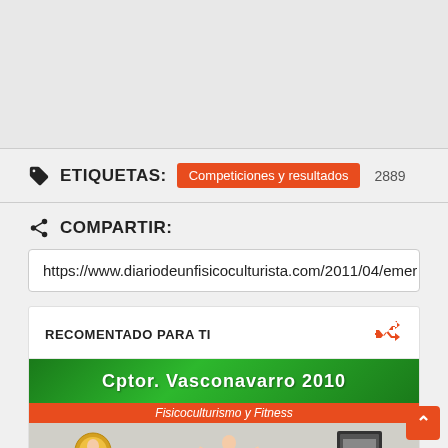ETIQUETAS: Competiciones y resultados 2889
COMPARTIR:
https://www.diariodeunfisicoculturista.com/2011/04/emer
RECOMENTADO PARA TI
[Figure (photo): Magazine cover or event photo for Campeonato Vasco-Navarro 2010, Fisicoculturismo y Fitness, showing athletes posing]